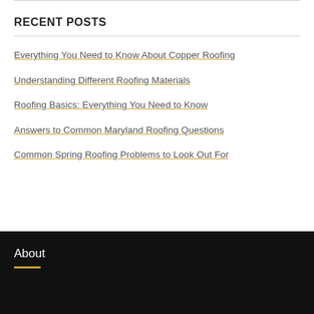RECENT POSTS
Everything You Need to Know About Copper Roofing
Understanding Different Roofing Materials
Roofing Basics: Everything You Need to Know
Answers to Common Maryland Roofing Questions
Common Spring Roofing Problems to Look Out For
About